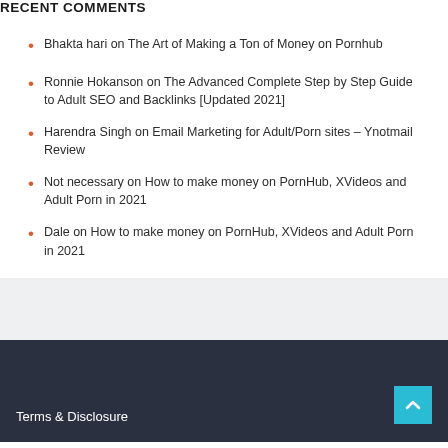RECENT COMMENTS
Bhakta hari on The Art of Making a Ton of Money on Pornhub
Ronnie Hokanson on The Advanced Complete Step by Step Guide to Adult SEO and Backlinks [Updated 2021]
Harendra Singh on Email Marketing for Adult/Porn sites – Ynotmail Review
Not necessary on How to make money on PornHub, XVideos and Adult Porn in 2021
Dale on How to make money on PornHub, XVideos and Adult Porn in 2021
Terms & Disclosure